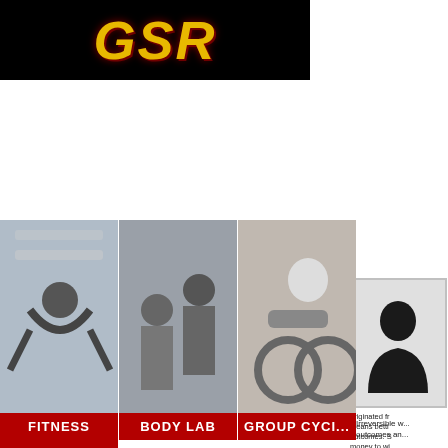[Figure (logo): Gold italic letters on black background forming gym/fitness center logo]
[Figure (photo): Silhouette profile placeholder image in gray card]
originated fr... means betti... outcomes. S... money to wi...
HOME
CHI SIAMO
ORARI
GALLERY
PRESS AREA
[Figure (photo): Woman doing fitness stretching exercise]
FITNESS
[Figure (photo): Man and woman in body lab/personal training session]
BODY LAB
[Figure (photo): Person on group cycling bike, partial view]
GROUP CYCI...
Irreversible w... outcomes an...